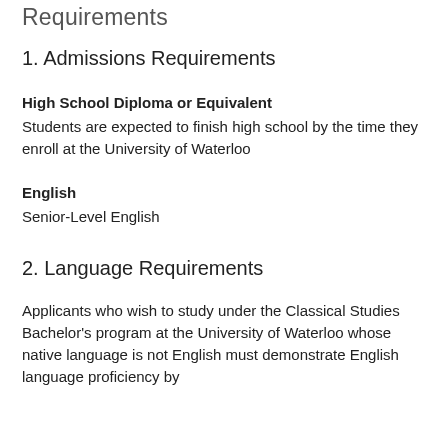Requirements
1. Admissions Requirements
High School Diploma or Equivalent
Students are expected to finish high school by the time they enroll at the University of Waterloo
English
Senior-Level English
2. Language Requirements
Applicants who wish to study under the Classical Studies Bachelor's program at the University of Waterloo whose native language is not English must demonstrate English language proficiency by